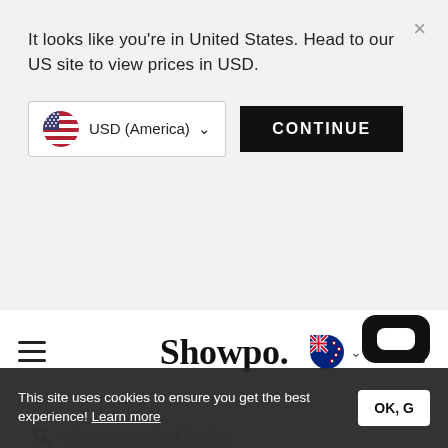It looks like you're in United States. Head to our US site to view prices in USD.
USD (America) ∨
CONTINUE
[Figure (logo): Showpo. brand logo in serif black bold font]
What are you looking for?
GET 20% OFF ALMOST EVERYTHING! USE CODE AFTERPAYDAY AT CHECKOUT! (MIN SPEND $100) SHOP NOW!
HOME / SALE / SALE TOPS / NEUW · JONESY TEE IN WHITE
[Figure (photo): Product photo of a white tee shirt, partially visible at bottom of page]
This site uses cookies to ensure you get the best experience! Learn more
OK, G